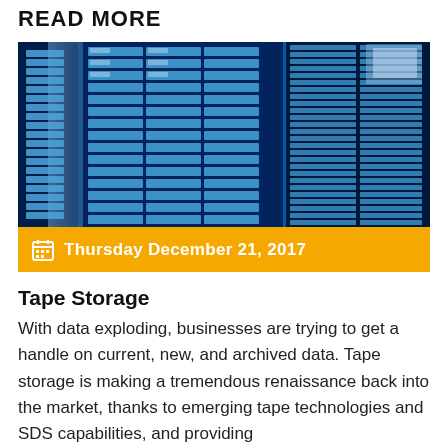READ MORE
[Figure (photo): Data center tape storage library with blue-tinted rows of tape cartridges and storage slots]
Thursday December 21, 2017
Tape Storage
With data exploding, businesses are trying to get a handle on current, new, and archived data. Tape storage is making a tremendous renaissance back into the market, thanks to emerging tape technologies and SDS capabilities, and providing